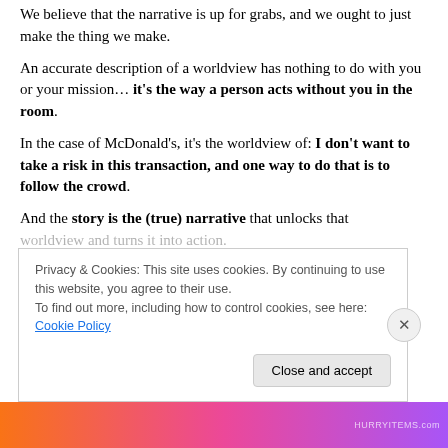We believe that the narrative is up for grabs, and we ought to just make the thing we make.
An accurate description of a worldview has nothing to do with you or your mission… it's the way a person acts without you in the room.
In the case of McDonald's, it's the worldview of: I don't want to take a risk in this transaction, and one way to do that is to follow the crowd.
And the story is the (true) narrative that unlocks that worldview and turns it into action.
Privacy & Cookies: This site uses cookies. By continuing to use this website, you agree to their use.
To find out more, including how to control cookies, see here: Cookie Policy